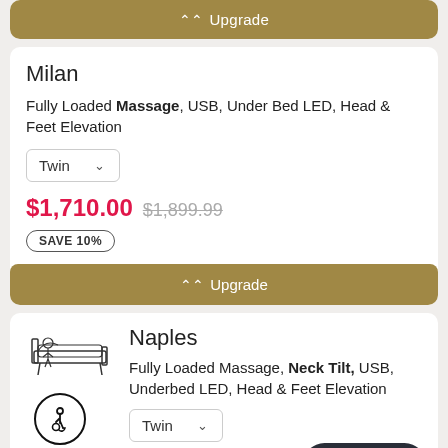[Figure (other): Upgrade button (gold/brown) partially visible at top of page]
Milan
Fully Loaded Massage, USB, Under Bed LED, Head & Feet Elevation
Twin (dropdown)
$1,710.00  $1,899.99  SAVE 10%
[Figure (other): Gold Upgrade button]
Naples
[Figure (illustration): Adjustable bed illustration with wheelchair accessibility icon]
Fully Loaded Massage, Neck Tilt, USB, Underbed LED, Head & Feet Elevation
Twin (dropdown)
$2,199.00
Chat with us